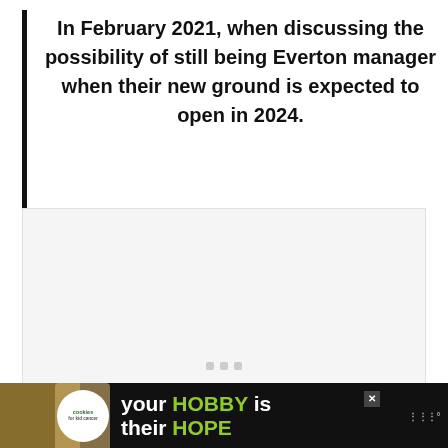In February 2021, when discussing the possibility of still being Everton manager when their new ground is expected to open in 2024.
[Figure (other): Placeholder ad unit with loading dots]
[Figure (other): Advertisement banner: cookies for kid cancer — your HOBBY is their HOPE]